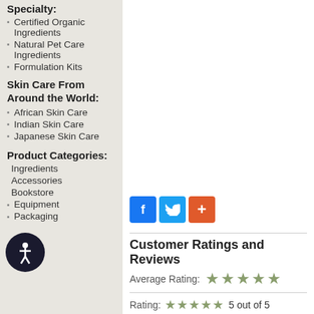Specialty:
Certified Organic Ingredients
Natural Pet Care Ingredients
Formulation Kits
Skin Care From Around the World:
African Skin Care
Indian Skin Care
Japanese Skin Care
Product Categories:
Ingredients
Accessories
Bookstore
Equipment
Packaging
[Figure (other): Social sharing buttons: Facebook (blue), Twitter (blue), Google+ (orange-red)]
Customer Ratings and Reviews
Average Rating: ★★★★★
Rating: ★★★★★ 5 out of 5
Reviewed By: Brittany
Posted: Tuesday, April 19, 2022
Location: Detroit, MI